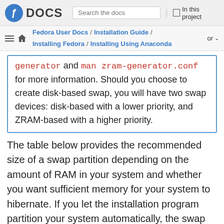Fedora DOCS | Search the docs | In this project
Fedora User Docs / Installation Guide / Installing Fedora / Installing Using Anaconda
generator and man zram-generator.conf for more information. Should you choose to create disk-based swap, you will have two swap devices: disk-based with a lower priority, and ZRAM-based with a higher priority.
The table below provides the recommended size of a swap partition depending on the amount of RAM in your system and whether you want sufficient memory for your system to hibernate. If you let the installation program partition your system automatically, the swap partition size will be established using these guidelines.